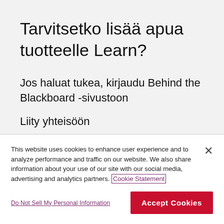Tarvitsetko lisää apua tuotteelle Learn?
Jos haluat tukea, kirjaudu Behind the Blackboard -sivustoon
Liity yhteisöön
This website uses cookies to enhance user experience and to analyze performance and traffic on our website. We also share information about your use of our site with our social media, advertising and analytics partners. Cookie Statement
Do Not Sell My Personal Information
Accept Cookies